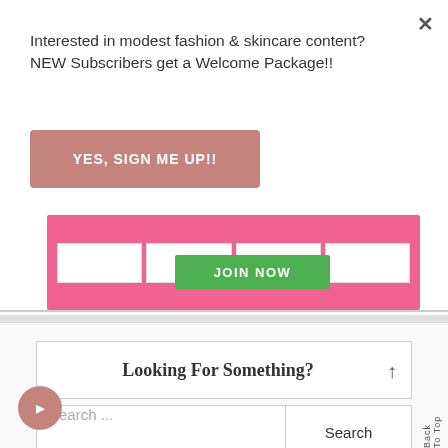Interested in modest fashion & skincare content? NEW Subscribers get a Welcome Package!!
YES, SIGN ME UP!!
[Figure (screenshot): Pink email signup form bar with white input fields and a green JOIN NOW button]
Looking For Something?
Search ...
Search
Back To Top